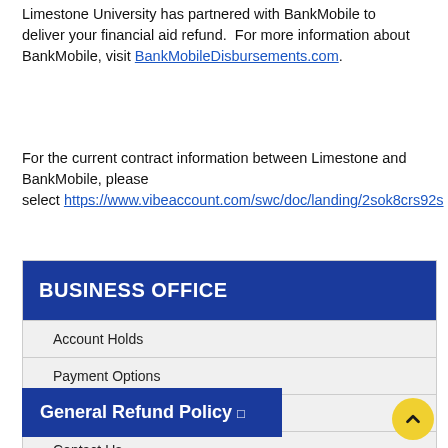Limestone University has partnered with BankMobile to deliver your financial aid refund.  For more information about BankMobile, visit BankMobileDisbursements.com.
For the current contract information between Limestone and BankMobile, please select https://www.vibeaccount.com/swc/doc/landing/2sok8crs92s
BUSINESS OFFICE
Account Holds
Payment Options
Refunds
Contact Us
General Refund Policy □